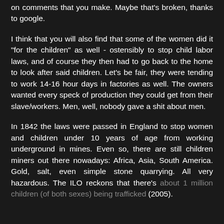on comments that you make. Maybe that's broken, thanks to google.
I think that you will also find that some of the women did it "for the children" as well - ostensibly to stop child labor laws, and of course they then had to go back to the home to look after said children. Let's be fair, they were tending to work 14-16 hour days in factories as well. The owners wanted every speck of production they could get from their slave/workers. Men, well, nobody gave a shit about men.
In 1842 the laws were passed in England to stop women and children under 10 years of age from working underground in mines. Even so, there are still children miners out there nowadays: Africa, Asia, South America. Gold, salt, even simple stone quarrying. All very hazardous. The ILO reckons that there's about 1 million children (of both sexes) being trafficked (2005).